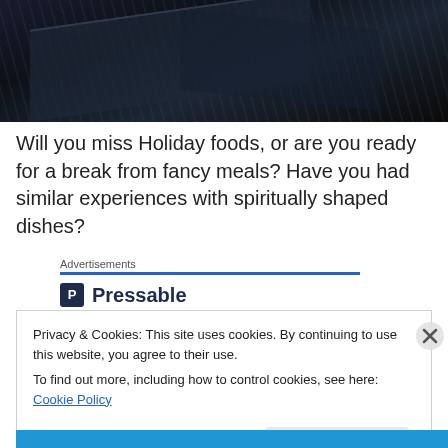[Figure (photo): Dark overhead/aerial photo, appears to show stairs or an escalator from above, very dark tones with blue-grey shadows]
Will you miss Holiday foods, or are you ready for a break from fancy meals? Have you had similar experiences with spiritually shaped dishes?
Advertisements
[Figure (logo): Pressable logo — blue 'P' icon in a dark square followed by bold text 'Pressable']
Privacy & Cookies: This site uses cookies. By continuing to use this website, you agree to their use.
To find out more, including how to control cookies, see here: Cookie Policy